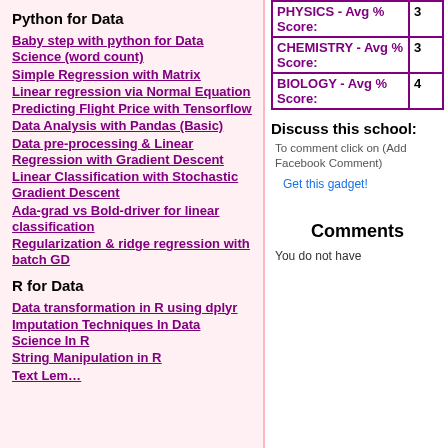Python for Data
Baby step with python for Data Science (word count)
Simple Regression with Matrix
Linear regression via Normal Equation
Predicting Flight Price with Tensorflow
Data Analysis with Pandas (Basic)
Data pre-processing & Linear Regression with Gradient Descent
Linear Classification with Stochastic Gradient Descent
Ada-grad vs Bold-driver for linear classification
Regularization & ridge regression with batch GD
R for Data
Data transformation in R using dplyr
Imputation Techniques In Data Science In R
String Manipulation in R
| Subject | Score |
| --- | --- |
| PHYSICS - Avg % Score: | 3 |
| CHEMISTRY - Avg % Score: | 3 |
| BIOLOGY - Avg % Score: | 4 |
Discuss this school:
To comment click on (Add Facebook Comment)
Get this gadget!
Comments
You do not have